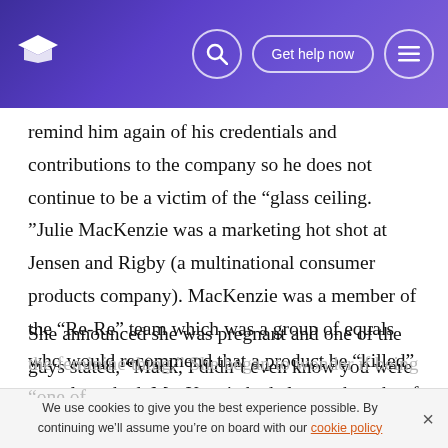[Navigation bar with logo, search icon, Get help now button, and menu icon]
remind him again of his credentials and contributions to the company so he does not continue to be a victim of the “glass ceiling. ”Julie MacKenzie was a marketing hot shot at Jensen and Rigby (a multinational consumer products company). MacKenzie was a member of the “Re-Re” team which was a group of equals who would recommend that a product be “killed” or re-launched. MacKenzie had always thought of herself as “one of the guys. ”
She announced she was pregnant and one of the guys stated, “Mack, I didn’t even know you were a girl...now you will have a “Mom’s-eye view” of the products. She wondered
the feminine thing.” She began to wonder if being “one of
We use cookies to give you the best experience possible. By continuing we’ll assume you’re on board with our cookie policy